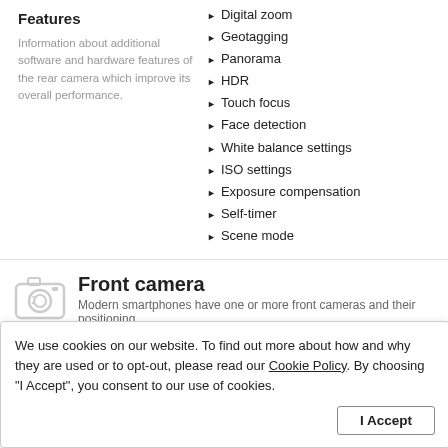Features
Information about additional software and hardware features of the rear camera which improve its overall performance.
Digital zoom
Geotagging
Panorama
HDR
Touch focus
Face detection
White balance settings
ISO settings
Exposure compensation
Self-timer
Scene mode
Front camera
Modern smartphones have one or more front cameras and their positioning…
Sensor model
Information about the manufacturer and model of the image sensor used by this
GalaxyCore GC2509
We use cookies on our website. To find out more about how and why they are used or to opt-out, please read our Cookie Policy. By choosing "I Accept", you consent to our use of cookies.
I Accept
entary metal-oxide